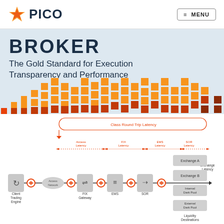[Figure (logo): Pico logo with orange star icon and dark navy PICO text]
≡ MENU
BROKER
The Gold Standard for Execution Transparency and Performance
[Figure (flowchart): Broker architecture diagram showing Client Trading Engine → Access Network → FIX Gateway → EMS → SOR → Liquidity Destinations (Exchange A, Exchange B, Internal Dark Pool, External Dark Pool). Red dashed lines indicate latency measurements: Access Latency, FIX Latency, EMS Latency, SOR Latency. Large red rounded rectangle spans top showing Class Round Trip Latency.]